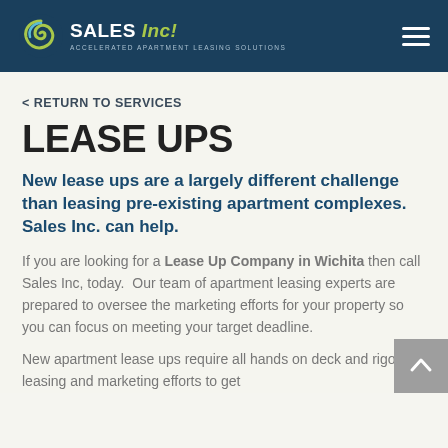SALES Inc! Accelerated Apartment Leasing Solutions
< RETURN TO SERVICES
LEASE UPS
New lease ups are a largely different challenge than leasing pre-existing apartment complexes. Sales Inc. can help.
If you are looking for a Lease Up Company in Wichita then call Sales Inc, today.  Our team of apartment leasing experts are prepared to oversee the marketing efforts for your property so you can focus on meeting your target deadline.
New apartment lease ups require all hands on deck and rigorous leasing and marketing efforts to get